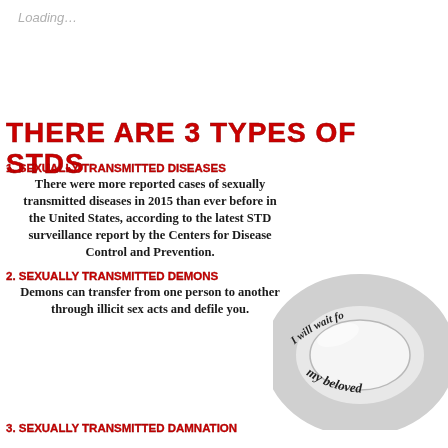Loading…
THERE ARE 3 TYPES OF STDS
1. SEXUALLY TRANSMITTED DISEASES
There were more reported cases of sexually transmitted diseases in 2015 than ever before in the United States, according to the latest STD surveillance report by the Centers for Disease Control and Prevention.
[Figure (photo): A silver ring with cursive inscription reading 'I will wait for my beloved']
2. SEXUALLY TRANSMITTED DEMONS
Demons can transfer from one person to another through illicit sex acts and defile you.
3. SEXUALLY TRANSMITTED DAMNATION